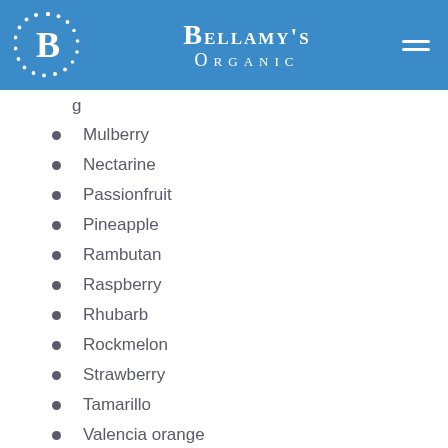[Figure (logo): Bellamy's Organic logo with blue background, white B letter in dotted circle on left, brand name in center, hamburger menu icon on right]
g (partial, truncated)
Mulberry
Nectarine
Passionfruit
Pineapple
Rambutan
Raspberry
Rhubarb
Rockmelon
Strawberry
Tamarillo
Valencia orange